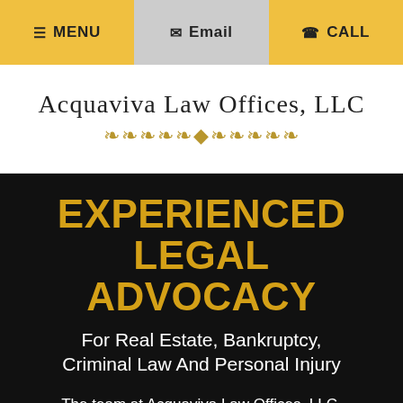☰ MENU  ✉ Email  ☎ CALL
[Figure (logo): Acquaviva Law Offices, LLC logo with decorative leaf/arrow ornament in gold]
EXPERIENCED LEGAL ADVOCACY
For Real Estate, Bankruptcy, Criminal Law And Personal Injury
The team at Acquaviva Law Offices, LLC, provides clients with assertive negotiation and aggressive representation for New Jersey real estate sales, purchases and